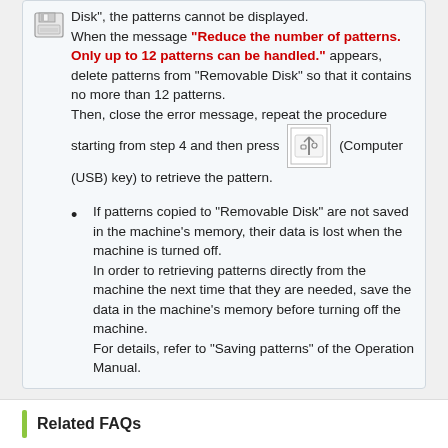Disk", the patterns cannot be displayed. When the message "Reduce the number of patterns. Only up to 12 patterns can be handled." appears, delete patterns from "Removable Disk" so that it contains no more than 12 patterns. Then, close the error message, repeat the procedure starting from step 4 and then press (Computer (USB) key) to retrieve the pattern.
If patterns copied to "Removable Disk" are not saved in the machine's memory, their data is lost when the machine is turned off. In order to retrieving patterns directly from the machine the next time that they are needed, save the data in the machine's memory before turning off the machine. For details, refer to "Saving patterns" of the Operation Manual.
Related FAQs